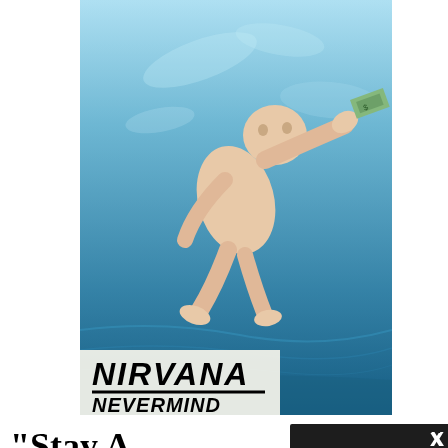[Figure (photo): Nirvana Nevermind album cover showing a baby swimming underwater in a pool reaching for a dollar bill on a fishhook, with the Nirvana and Nevermind logo text in the lower left]
“Stay Away” / “Lithium” b/w “Come as You Are” Play”
Somewhere in the band psychoanalysis buried. But on “P its Nevermind inc front and you could riot to it. Beyond its mosh factor, Cobain’s screaming about a very specific code of ethics
[Figure (screenshot): Browser not compatible error modal overlay with dark background. Title: Browser not compatible. Subtitle: You may need to update your browser. Link: Report ID: 1gb5d98dn33s8qdhftf. Close X button in top right.]